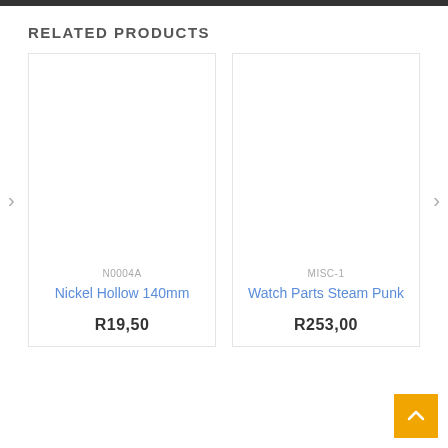RELATED PRODUCTS
[Figure (photo): Product image placeholder for Nickel Hollow 140mm (light gray rectangle)]
N0004A
Nickel Hollow 140mm
R19,50
[Figure (photo): Product image placeholder for Watch Parts Steam Punk (light gray rectangle)]
MISC-1
Watch Parts Steam Punk
R253,00